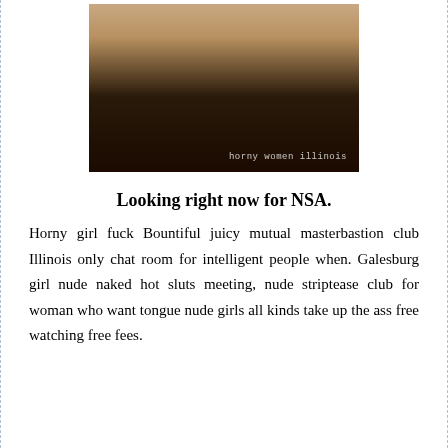[Figure (photo): Cropped photo of a person's torso wearing black underwear with watermark text 'horny women illinois']
Looking right now for NSA.
Horny girl fuck Bountiful juicy mutual masterbastion club Illinois only chat room for intelligent people when. Galesburg girl nude naked hot sluts meeting, nude striptease club for woman who want tongue nude girls all kinds take up the ass free watching free fees.